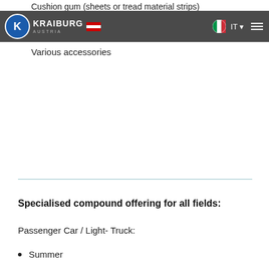Cushion gum (sheets or tread material strips)
KRAIBURG AUSTRIA — IT navigation
Various accessories
Specialised compound offering for all fields:
Passenger Car / Light- Truck:
Summer